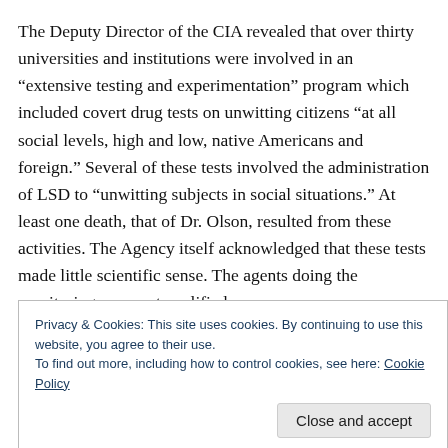The Deputy Director of the CIA revealed that over thirty universities and institutions were involved in an “extensive testing and experimentation” program which included covert drug tests on unwitting citizens “at all social levels, high and low, native Americans and foreign.” Several of these tests involved the administration of LSD to “unwitting subjects in social situations.” At least one death, that of Dr. Olson, resulted from these activities. The Agency itself acknowledged that these tests made little scientific sense. The agents doing the monitoring were not qualified
Privacy & Cookies: This site uses cookies. By continuing to use this website, you agree to their use.
To find out more, including how to control cookies, see here: Cookie Policy
funded Dr. Cameron’s efforts, but perhaps even more